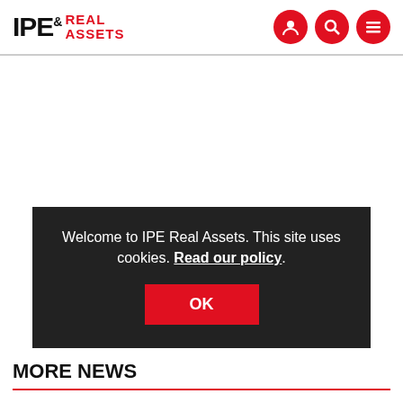IPE Real Assets
Welcome to IPE Real Assets. This site uses cookies. Read our policy.
OK
MORE NEWS